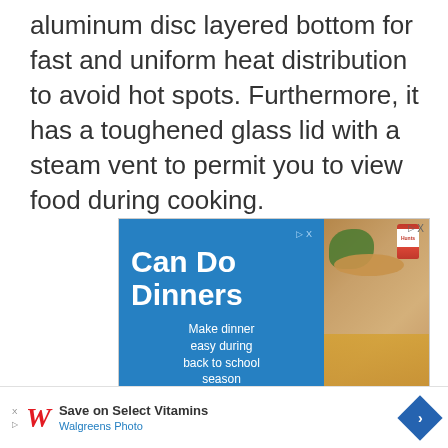aluminum disc layered bottom for fast and uniform heat distribution to avoid hot spots. Furthermore, it has a toughened glass lid with a steam vent to permit you to view food during cooking.
[Figure (photo): Advertisement banner for 'Can Do Dinners' by Hunts/Barwick. Blue left panel with white bold text 'Can Do Dinners' and subtext 'Make dinner easy during back to school season'. Right panel shows food photo with canned goods, bread, green herbs, and pizza/flatbread.]
[Figure (photo): Walgreens advertisement banner at bottom. Shows Walgreens red italic W logo, text 'Save on Select Vitamins' and 'Walgreens Photo', with a blue diamond arrow button on right. Small play/close buttons on left.]